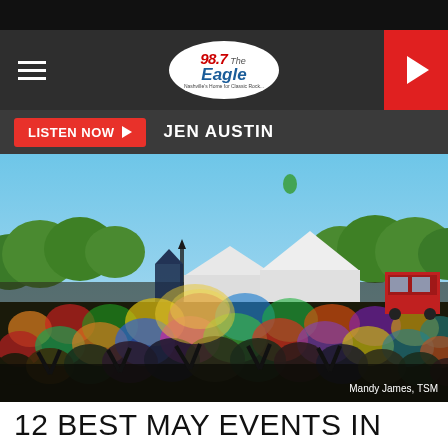[Figure (screenshot): Radio station website header showing 98.7 The Eagle logo, hamburger menu, play button, Listen Now bar with Jen Austin text, and a festival crowd photo with white tents and colorful powder. Photo credit: Mandy James, TSM]
12 BEST MAY EVENTS IN